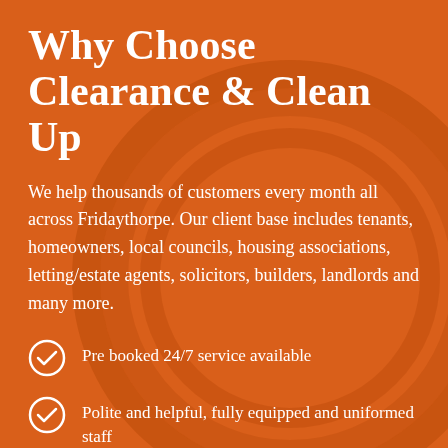Why Choose Clearance & Clean Up
We help thousands of customers every month all across Fridaythorpe. Our client base includes tenants, homeowners, local councils, housing associations, letting/estate agents, solicitors, builders, landlords and many more.
Pre booked 24/7 service available
Polite and helpful, fully equipped and uniformed staff
FACT – We do all the lifting and shifting for